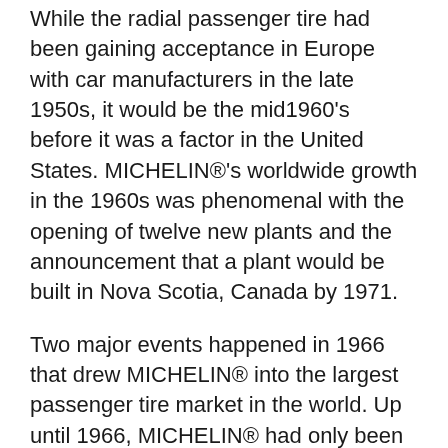While the radial passenger tire had been gaining acceptance in Europe with car manufacturers in the late 1950s, it would be the mid1960's before it was a factor in the United States. MICHELIN®'s worldwide growth in the 1960s was phenomenal with the opening of twelve new plants and the announcement that a plant would be built in Nova Scotia, Canada by 1971.
Two major events happened in 1966 that drew MICHELIN® into the largest passenger tire market in the world. Up until 1966, MICHELIN® had only been importing small quantities of radial passenger tires to service consumers with European cars originally fitted with MICHELIN® radial tires. That year Ford decided the 1968 Lincoln Continental Mark III would have radial tires as original equipment. Although domestic tire manufacturers had purchased the license to develop radial tires, none were successful in developing a satisfactory radial tire. Ford then selected MICHELIN® to be the supplier. This was a major boost for both the